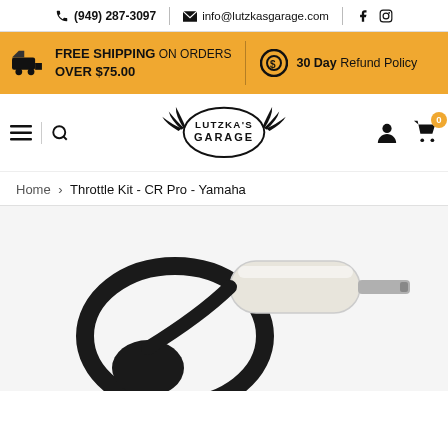(949) 287-3097 | info@lutzkasgarage.com
FREE SHIPPING ON ORDERS OVER $75.00 | 30 Day Refund Policy
[Figure (logo): Lutzka's Garage logo with wings and stylized text]
Home › Throttle Kit - CR Pro - Yamaha
[Figure (photo): Throttle Kit CR Pro Yamaha product photo showing white cylindrical grip with black cable and housing]